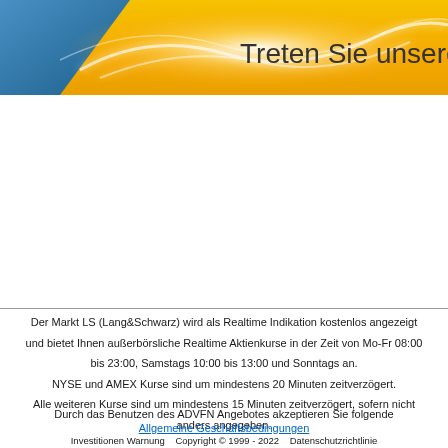[Figure (illustration): Yellow and blue gradient banner with glowing wave effect and German text 'Treten Sie unserer Gemeinschaft bei' (Join our community)]
Der Markt LS (Lang&Schwarz) wird als Realtime Indikation kostenlos angezeigt und bietet Ihnen außerbörsliche Realtime Aktienkurse in der Zeit von Mo-Fr 08:00 bis 23:00, Samstags 10:00 bis 13:00 und Sonntags an. NYSE und AMEX Kurse sind um mindestens 20 Minuten zeitverzögert. Alle weiteren Kurse sind um mindestens 15 Minuten zeitverzögert, sofern nicht anders angegeben.
Durch das Benutzen des ADVFN Angebotes akzeptieren Sie folgende
Allgemeine Geschäftsbedingungen
Investitionen Warnung   Copyright © 1999 - 2022   Datenschutzrichtlinie